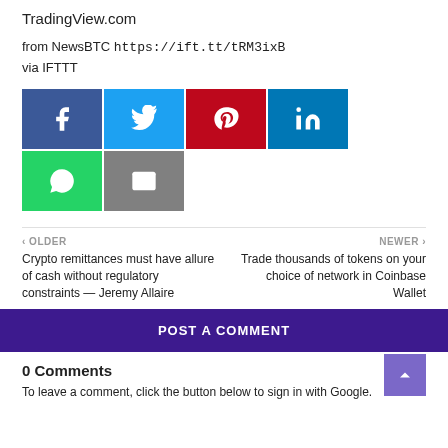TradingView.com
from NewsBTC https://ift.tt/tRM3ixB
via IFTTT
[Figure (infographic): Row of social share buttons: Facebook (blue), Twitter (light blue), Pinterest (red), LinkedIn (dark blue), WhatsApp (green), and Email (gray)]
< OLDER
Crypto remittances must have allure of cash without regulatory constraints — Jeremy Allaire
NEWER >
Trade thousands of tokens on your choice of network in Coinbase Wallet
POST A COMMENT
0 Comments
To leave a comment, click the button below to sign in with Google.